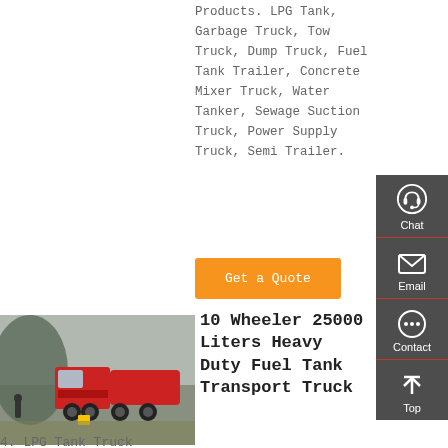Products. LPG Tank, Garbage Truck, Tow Truck, Dump Truck, Fuel Tank Trailer, Concrete Mixer Truck, Water Tanker, Sewage Suction Truck, Power Supply Truck, Semi Trailer.
[Figure (other): Orange 'Get a Quote' button]
[Figure (photo): Photo of a red 10-wheeler heavy duty fuel tank transport truck parked outdoors]
10 Wheeler 25000 Liters Heavy Duty Fuel Tank Transport Truck
4. LPG Tank Truck